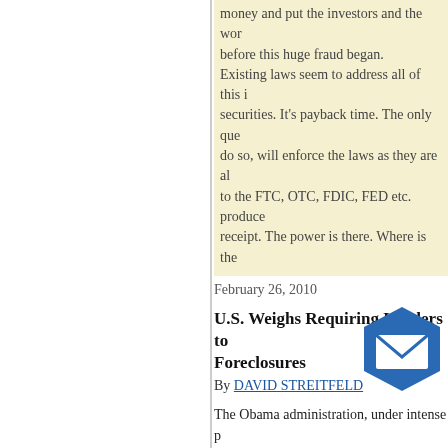money and put the investors and the world back to where they were before this huge fraud began. Existing laws seem to address all of this including selling worthless securities. It's payback time. The only question is whether those who can do so, will enforce the laws as they are already written. Send complaints to the FTC, OTC, FDIC, FED etc. produce copies and get a signed receipt. The power is there. Where is the will?
February 26, 2010
U.S. Weighs Requiring Lenders to Halt Foreclosures
By DAVID STREITFELD
The Obama administration, under intense pressure from homeowners at risk of losing their homes, is considering a ban on foreclosures until they are examined for potential modification, according to people close to the talks.
That would raise the stakes from the current policy, which encourages lenders to evaluate defaulting borrowers for modifications but is not mandatory.
Meg Reilly, a Treasury Department spokeswoman, said the proposed foreclosure ban was "one of the options" in the administration's ongoing housing stability program, as reported by Bloomberg News.
Laurie Goodman, a senior managing director at Amherst Securities, has been highly critical of the government's mortgage modification efforts.